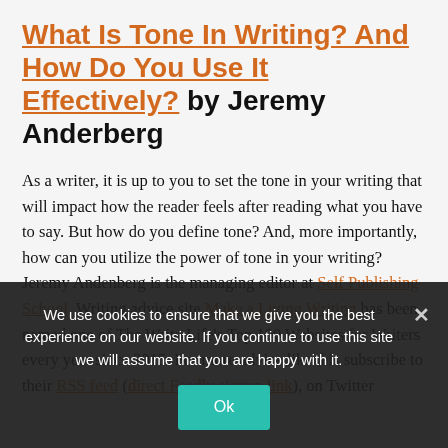What Is Tone In Writing? And How Do You Use It Effectively? by Jeremy Anderberg
As a writer, it is up to you to set the tone in your writing that will impact how the reader feels after reading what you have to say. But how do you define tone? And, more importantly, how can you utilize the power of tone in your writing? Jeremy Andenberg is the managing editor at Self Publishing School. Writing advice site Make a Living Writing has been named one of The Write Life's Top 100 Websites for Writers every year since 2015. For more advice like this subscribe to their RSS feed (direct Feedly signup link), on Twitter
We use cookies to ensure that we give you the best experience on our website. If you continue to use this site we will assume that you are happy with it.